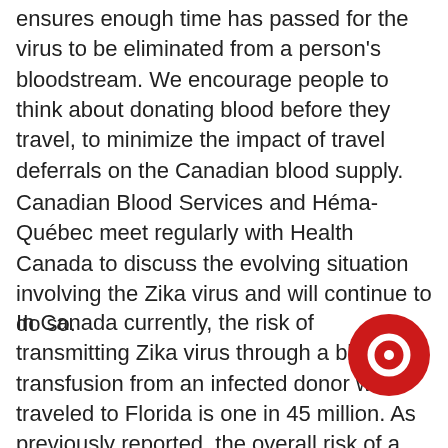ensures enough time has passed for the virus to be eliminated from a person's bloodstream. We encourage people to think about donating blood before they travel, to minimize the impact of travel deferrals on the Canadian blood supply.
Canadian Blood Services and Héma-Québec meet regularly with Health Canada to discuss the evolving situation involving the Zika virus and will continue to do so.
In Canada currently, the risk of transmitting Zika virus through a blood transfusion from an infected donor who traveled to Florida is one in 45 million. As previously reported, the overall risk of a contaminated unit getting into Canada's blood supply due to a donor who had traveled outside this country is one in 8.3 million. This